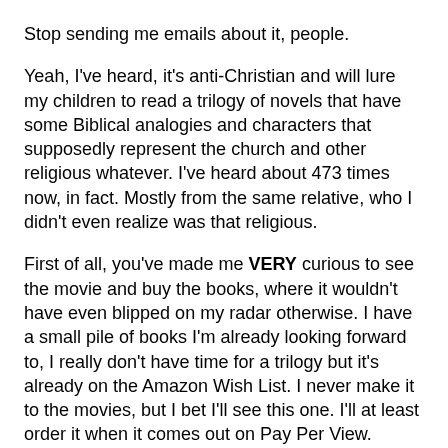Stop sending me emails about it, people.
Yeah, I've heard, it's anti-Christian and will lure my children to read a trilogy of novels that have some Biblical analogies and characters that supposedly represent the church and other religious whatever. I've heard about 473 times now, in fact. Mostly from the same relative, who I didn't even realize was that religious.
First of all, you've made me VERY curious to see the movie and buy the books, where it wouldn't have even blipped on my radar otherwise. I have a small pile of books I'm already looking forward to, I really don't have time for a trilogy but it's already on the Amazon Wish List. I never make it to the movies, but I bet I'll see this one. I'll at least order it when it comes out on Pay Per View.
Secondly, if my kids see a movie and it inspires them to read a long ass trilogy with a bunch of philosophical, complicated overtones...that's cool with me. I'd bet my kid was pretty smart and I'd probably explain the hoopla and ask him what